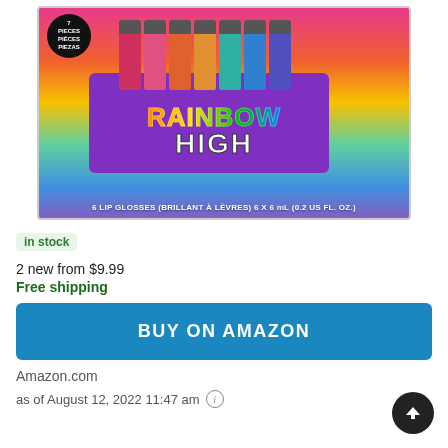[Figure (photo): Rainbow High 7-piece lip gloss set product packaging with colorful cartoon characters and lip gloss tubes against a purple silky bag, rainbow gradient background]
in stock
2 new from $9.99
Free shipping
BUY ON AMAZON
Amazon.com
as of August 12, 2022 11:47 am ⓘ